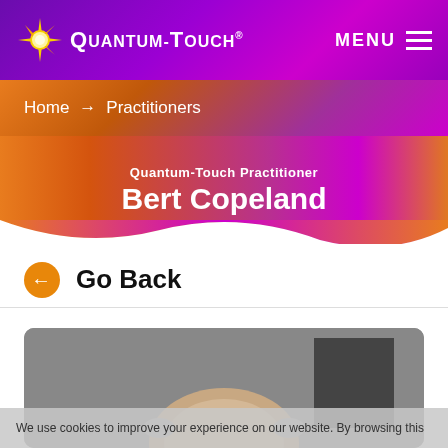Quantum-Touch® — MENU
Home → Practitioners
Quantum-Touch Practitioner — Bert Copeland
Go Back
[Figure (photo): Profile photo of Bert Copeland, showing the top of his head]
We use cookies to improve your experience on our website. By browsing this